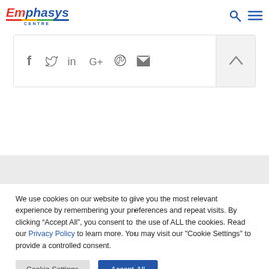Emphasys Centre
[Figure (infographic): Social share bar with icons for Facebook, Twitter, LinkedIn, Google+, Pinterest, Email, and an up arrow button]
[Figure (infographic): Gray background section separator]
We use cookies on our website to give you the most relevant experience by remembering your preferences and repeat visits. By clicking “Accept All”, you consent to the use of ALL the cookies. Read our Privacy Policy to learn more. You may visit our "Cookie Settings" to provide a controlled consent.
Cookie Settings
Accept All